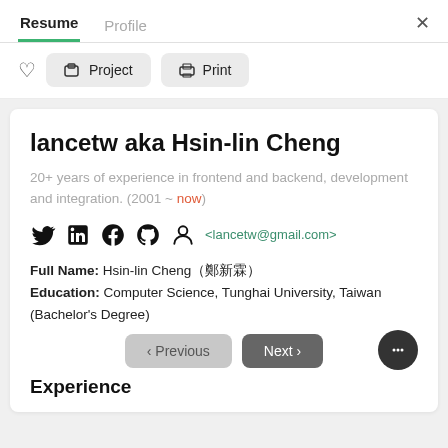Resume  Profile
Project  Print
lancetw aka Hsin-lin Cheng
20+ years of experience in frontend and backend, development and integration. (2001 ~ now)
<lancetw@gmail.com>
Full Name: Hsin-lin Cheng（鄭新霖）
Education: Computer Science, Tunghai University, Taiwan (Bachelor's Degree)
Experience